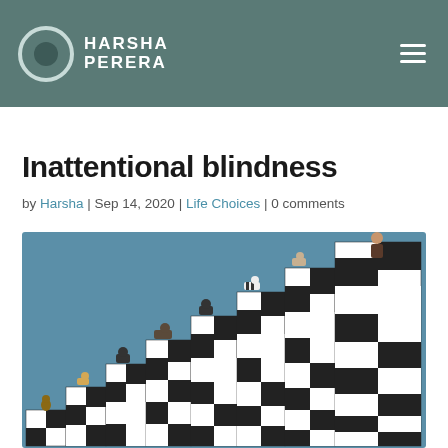HARSHA PERERA
Inattentional blindness
by Harsha | Sep 14, 2020 | Life Choices | 0 comments
[Figure (photo): Staircase made of black and white checkered blocks arranged in ascending steps, with small animal figurines and a human figure on top of each step, against a teal/blue-grey background]